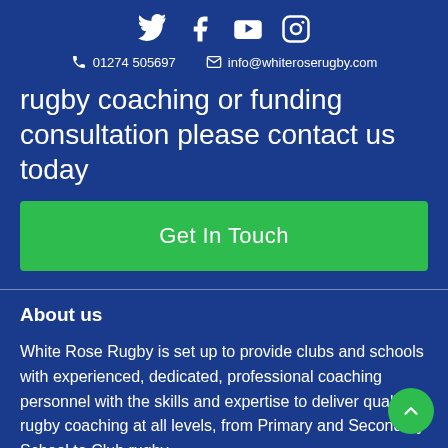[Figure (other): Social media icons: Twitter, Facebook, YouTube, Instagram]
01274 505697   info@whiteroserugby.com
rugby coaching or funding consultation please contact us today
Get In Touch
About us
White Rose Rugby is set up to provide clubs and schools with experienced, dedicated, professional coaching personnel with the skills and expertise to deliver quality rugby coaching at all levels, from Primary and Secondary School to Club rugby.